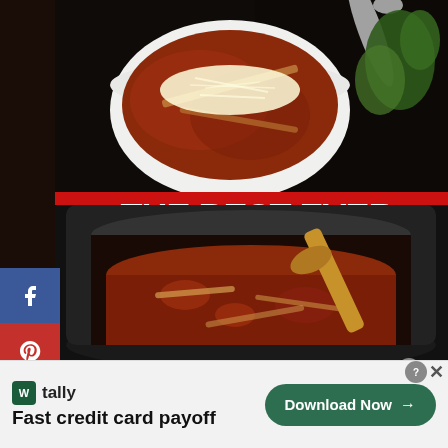[Figure (photo): Composite food photo: top half shows a white bowl of lasagna soup with shredded cheese on a dark background with a spoon and fresh herbs; bottom half shows a crock pot slow cooker filled with lasagna soup with a wooden spoon]
THE BEST EVER CROCK POT LASAGNA SOUP
EATINGONADIME.COM
[Figure (infographic): Social share sidebar with Facebook (blue), Pinterest (red), Twitter (blue), and Email (gray) share buttons on the left side]
tally Fast credit card payoff Download Now →